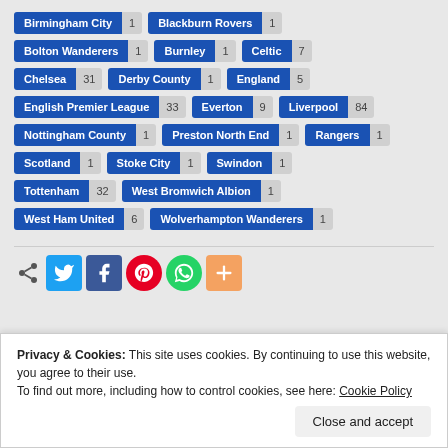Birmingham City 1
Blackburn Rovers 1
Bolton Wanderers 1
Burnley 1
Celtic 7
Chelsea 31
Derby County 1
England 5
English Premier League 33
Everton 9
Liverpool 84
Nottingham County 1
Preston North End 1
Rangers 1
Scotland 1
Stoke City 1
Swindon 1
Tottenham 32
West Bromwich Albion 1
West Ham United 6
Wolverhampton Wanderers 1
[Figure (infographic): Social share icons: share, Twitter, Facebook, Pinterest, WhatsApp, More]
Privacy & Cookies: This site uses cookies. By continuing to use this website, you agree to their use. To find out more, including how to control cookies, see here: Cookie Policy